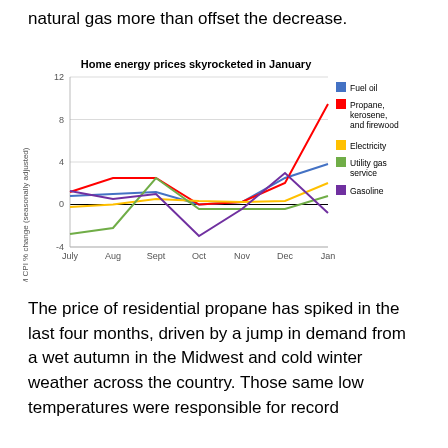natural gas more than offset the decrease.
[Figure (line-chart): Home energy prices skyrocketed in January]
The price of residential propane has spiked in the last four months, driven by a jump in demand from a wet autumn in the Midwest and cold winter weather across the country. Those same low temperatures were responsible for record